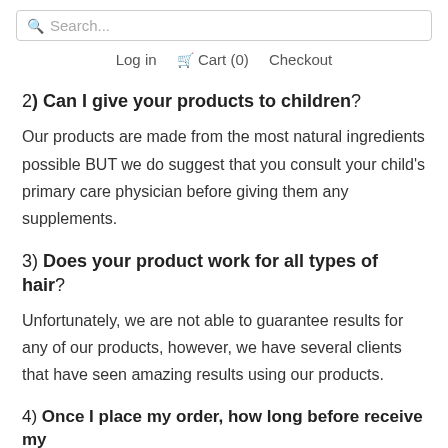Search...  Log in  Cart (0)  Checkout
2) Can I give your products to children?
Our products are made from the most natural ingredients possible BUT we do suggest that you consult your child's primary care physician before giving them any supplements.
3) Does your product work for all types of hair?
Unfortunately, we are not able to guarantee results for any of our products, however, we have several clients that have seen amazing results using our products.
4) Once I place my order, how long before receive my